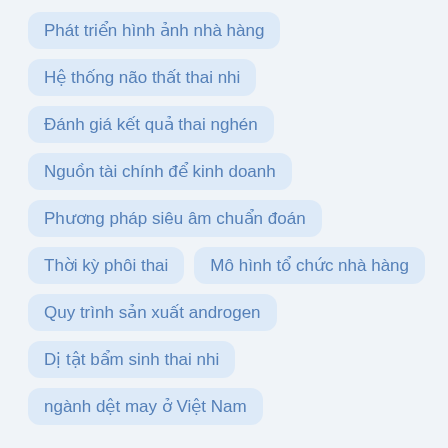Phát triển hình ảnh nhà hàng
Hệ thống não thất thai nhi
Đánh giá kết quả thai nghén
Nguồn tài chính để kinh doanh
Phương pháp siêu âm chuẩn đoán
Thời kỳ phôi thai
Mô hình tổ chức nhà hàng
Quy trình sản xuất androgen
Dị tật bẩm sinh thai nhi
ngành dệt may ở Việt Nam